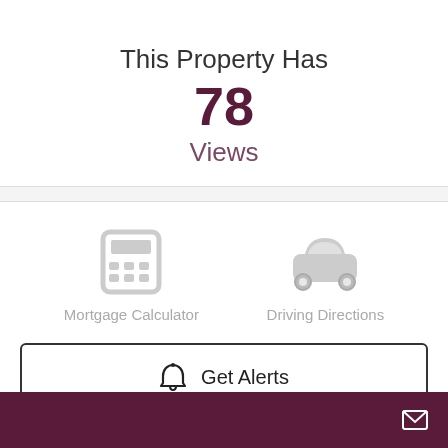This Property Has
78
Views
[Figure (infographic): Calculator icon (gray) with label 'Mortgage Calculator' and car icon (gray) with label 'Driving Directions']
Get Alerts
Email icon in dark maroon/purple footer bar